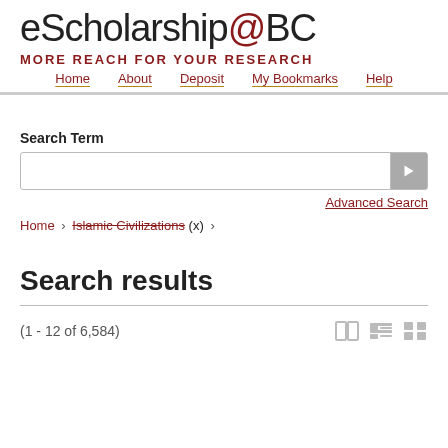eScholarship@BC MORE REACH FOR YOUR RESEARCH Home About Deposit My Bookmarks Help
Search Term
Advanced Search
Home › Islamic Civilizations (x) ›
Search results
(1 - 12 of 6,584)